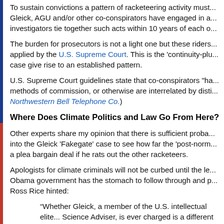To sustain convictions a pattern of racketeering activity must... Gleick, AGU and/or other co-conspirators have engaged in a... investigators tie together such acts within 10 years of each o...
The burden for prosecutors is not a light one but these riders... applied by the U.S. Supreme Court. This is the 'continuity-plu... case give rise to an established pattern.
U.S. Supreme Court guidelines state that co-conspirators "ha... methods of commission, or otherwise are interrelated by disti... Northwestern Bell Telephone Co.)
Where Does Climate Politics and Law Go From Here?
Other experts share my opinion that there is sufficient proba... into the Gleick 'Fakegate' case to see how far the 'post-norm... a plea bargain deal if he rats out the other racketeers.
Apologists for climate criminals will not be curbed until the le... Obama government has the stomach to follow through and p... Ross Rice hinted:
“Whether Gleick, a member of the U.S. intellectual elite... Science Adviser, is ever charged is a different issue tha...
Skeptics have already seen how the British police have stalle...